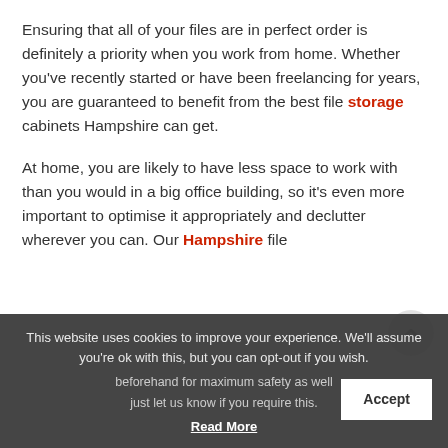Ensuring that all of your files are in perfect order is definitely a priority when you work from home. Whether you've recently started or have been freelancing for years, you are guaranteed to benefit from the best file storage cabinets Hampshire can get.
At home, you are likely to have less space to work with than you would in a big office building, so it's even more important to optimise it appropriately and declutter wherever you can. Our Hampshire file beforehand for maximum safety as well just let us know if you require this.
This website uses cookies to improve your experience. We'll assume you're ok with this, but you can opt-out if you wish. Read More